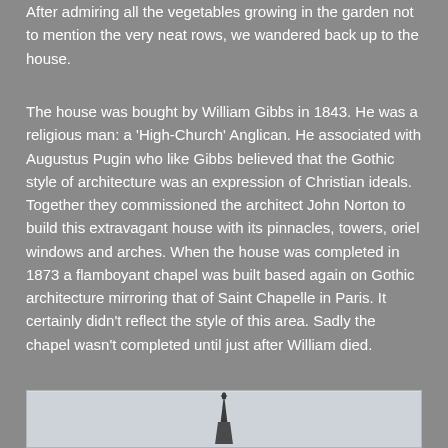After admiring all the vegetables growing in the garden not to mention the very neat rows, we wandered back up to the house.
The house was bought by William Gibbs in 1843. He was a religious man: a 'High-Church' Anglican. He associated with Augustus Pugin who like Gibbs believed that the Gothic style of architecture was an expression of Christian ideals. Together they commissioned the architect John Norton to build this extravagant house with its pinnacles, towers, oriel windows and arches. When the house was completed in 1873 a flamboyant chapel was built based again on Gothic architecture mirroring that of Saint Chapelle in Paris. It certainly didn't reflect the style of this area. Sadly the chapel wasn't completed until just after William died.
[Figure (photo): Partial view of a Gothic-style church or chapel spire against a light sky, visible at the bottom of the page.]